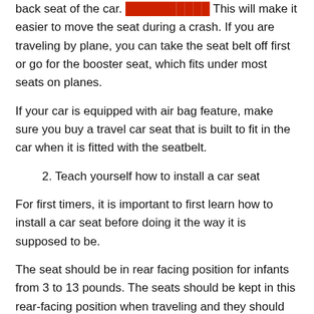back seat of the car. [REDACTED] This will make it easier to move the seat during a crash. If you are traveling by plane, you can take the seat belt off first or go for the booster seat, which fits under most seats on planes.
If your car is equipped with air bag feature, make sure you buy a travel car seat that is built to fit in the car when it is fitted with the seatbelt.
2. Teach yourself how to install a car seat
For first timers, it is important to first learn how to install a car seat before doing it the way it is supposed to be.
The seat should be in rear facing position for infants from 3 to 13 pounds. The seats should be kept in this rear-facing position when traveling and they should be stored in a rear seatbelt for as long as possible.